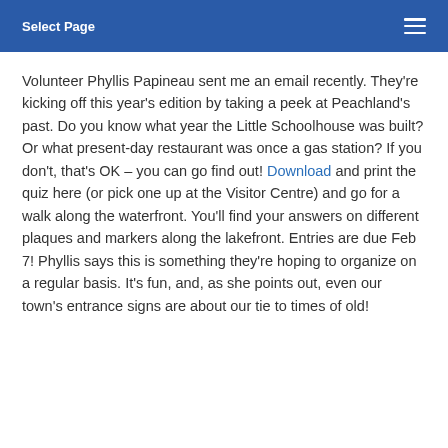Select Page
Volunteer Phyllis Papineau sent me an email recently. They're kicking off this year's edition by taking a peek at Peachland's past. Do you know what year the Little Schoolhouse was built? Or what present-day restaurant was once a gas station? If you don't, that's OK – you can go find out! Download and print the quiz here (or pick one up at the Visitor Centre) and go for a walk along the waterfront. You'll find your answers on different plaques and markers along the lakefront. Entries are due Feb 7! Phyllis says this is something they're hoping to organize on a regular basis. It's fun, and, as she points out, even our town's entrance signs are about our tie to times of old!